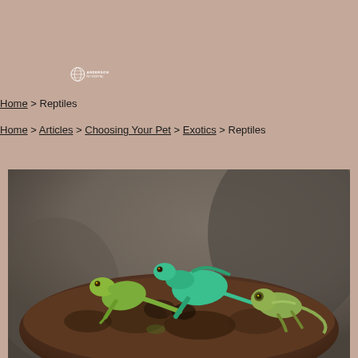[Figure (logo): Anderson pet website logo — circular globe icon with 'ANDERSON' text]
Home > Reptiles
Home > Articles > Choosing Your Pet > Exotics > Reptiles
[Figure (photo): Three green lizards (likely green basilisks and a chameleon) sitting on top of a mossy log or trunk, with a blurred brownish-grey background]